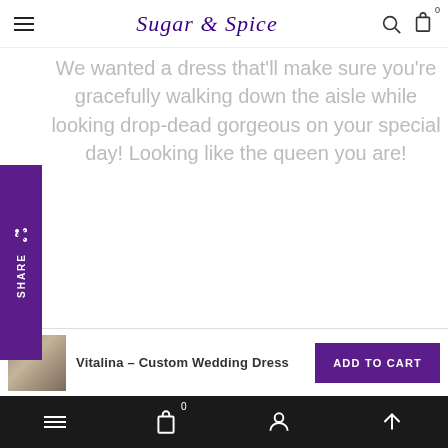Sugar & Spice — navigation bar with hamburger menu, logo, search and cart icons
We wanted a dress that'll make sure you're gracefully walking down the aisle while looking drop-dead gorgeous on your special day! Looking like the queen you are!
Sizing
Because these are handcrafted and designed for your dreams to come true
Vitalina – Custom Wedding Dress
Bottom navigation bar with hamburger, cart (0), person, and up-arrow icons